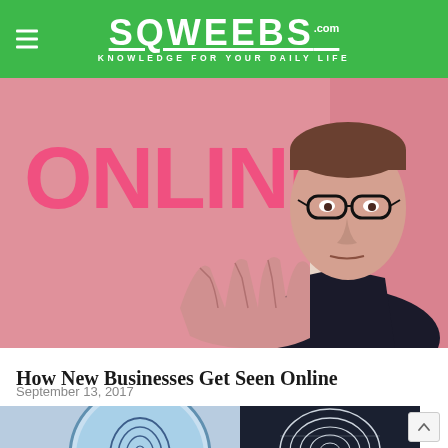SQWEEBS.com — KNOWLEDGE FOR YOUR DAILY LIFE
[Figure (photo): Vintage-style pink-tinted photo of a man in glasses and suit with the word ONLINE in large pink letters]
How New Businesses Get Seen Online
September 13, 2017
[Figure (photo): Close-up of a fingerprint pattern viewed through a magnifying glass, in blue/dark tones]